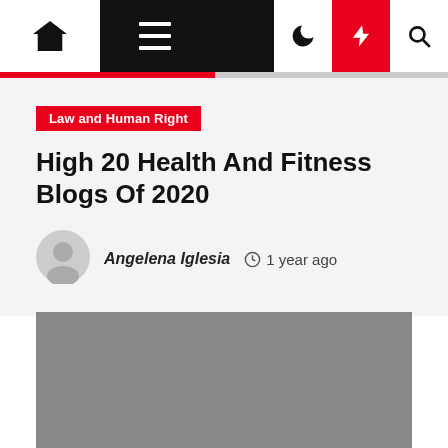Navigation bar with home, menu, moon, lightning, search icons
Law and Human Right
High 20 Health And Fitness Blogs Of 2020
Angelena Iglesia  1 year ago
[Figure (photo): Gray placeholder featured image for article]